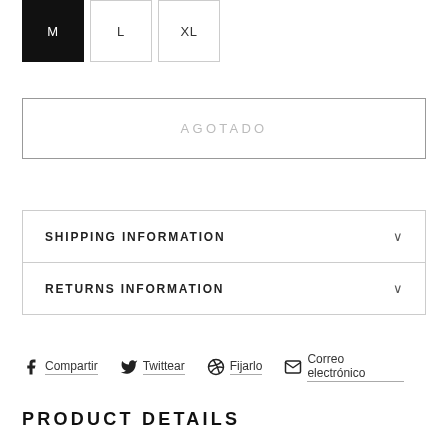M (selected), L, XL
AGOTADO
SHIPPING INFORMATION
RETURNS INFORMATION
Compartir  Twittear  Fijarlo  Correo electrónico
PRODUCT DETAILS